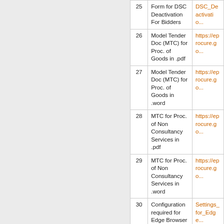| No. | Description | Link |
| --- | --- | --- |
| 25 | Form for DSC Deactivation For Bidders | DSC_Deactivatio... |
| 26 | Model Tender Doc (MTC) for Proc. of Goods in .pdf | https://eprocure.go... |
| 27 | Model Tender Doc (MTC) for Proc. of Goods in .word | https://eprocure.go... |
| 28 | MTC for Proc. of Non Consultancy Services in .pdf | https://eprocure.go... |
| 29 | MTC for Proc. of Non Consultancy Services in .word | https://eprocure.go... |
| 30 | Configuration required for Edge Browser | Settings_for_Edge... |
| 31 | Help Documents for ADB Tenders | ADB_BoQ_Good...
User_Guide_To_B...
ADB_Goods_BoG... |